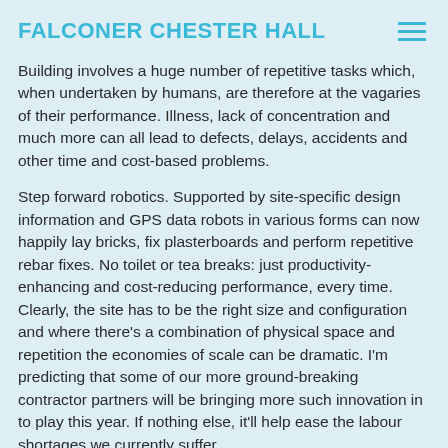FALCONER CHESTER HALL
Building involves a huge number of repetitive tasks which, when undertaken by humans, are therefore at the vagaries of their performance. Illness, lack of concentration and much more can all lead to defects, delays, accidents and other time and cost-based problems.
Step forward robotics. Supported by site-specific design information and GPS data robots in various forms can now happily lay bricks, fix plasterboards and perform repetitive rebar fixes. No toilet or tea breaks: just productivity-enhancing and cost-reducing performance, every time. Clearly, the site has to be the right size and configuration and where there's a combination of physical space and repetition the economies of scale can be dramatic. I'm predicting that some of our more ground-breaking contractor partners will be bringing more such innovation in to play this year. If nothing else, it'll help ease the labour shortages we currently suffer.